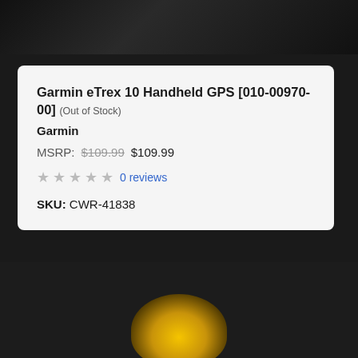[Figure (photo): Dark product page header banner with black background and partial device imagery]
Garmin eTrex 10 Handheld GPS [010-00970-00] (Out of Stock)
Garmin
MSRP: $109.99  $109.99
★ ★ ★ ★ ★  0 reviews
SKU: CWR-41838
[Figure (photo): Bottom portion of a Garmin eTrex 10 handheld GPS device shown from above against a dark background]